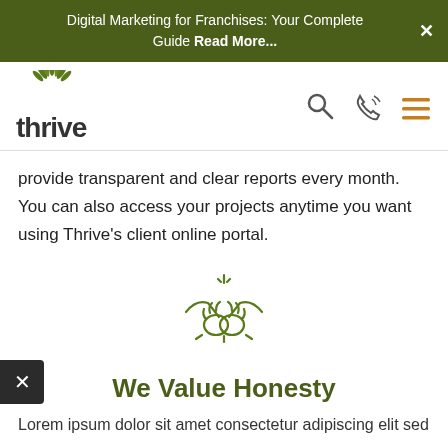Digital Marketing for Franchises: Your Complete Guide Read More...
[Figure (logo): Thrive Internet Marketing Agency logo with green leaf/plant icon above the word 'thrive' in dark gray bold text]
provide transparent and clear reports every month. You can also access your projects anytime you want using Thrive's client online portal.
[Figure (illustration): Green outline icon of two hands shaking with a star/sparkle above, representing honesty or partnership]
We Value Honesty
Lorem text partial visible at bottom